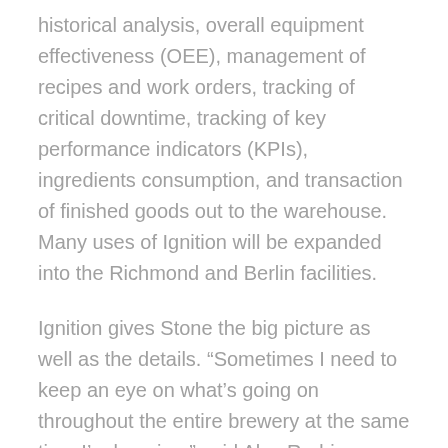historical analysis, overall equipment effectiveness (OEE), management of recipes and work orders, tracking of critical downtime, tracking of key performance indicators (KPIs), ingredients consumption, and transaction of finished goods out to the warehouse. Many uses of Ignition will be expanded into the Richmond and Berlin facilities.
Ignition gives Stone the big picture as well as the details. “Sometimes I need to keep an eye on what’s going on throughout the entire brewery at the same time I’m brewing,” said Alex Rodriguez, senior brewer at Stone. “Ignition’s great, because from the control room I can see exactly what’s going on throughout the brewery.”